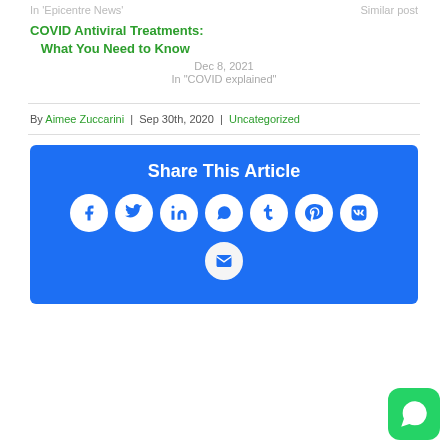In 'Epicentre News'
Similar post
COVID Antiviral Treatments: What You Need to Know
Dec 8, 2021
In "COVID explained"
By Aimee Zuccarini | Sep 30th, 2020 | Uncategorized
[Figure (infographic): Share This Article box with social media icons: Facebook, Twitter, LinkedIn, WhatsApp, Tumblr, Pinterest, VK, and Email on blue background]